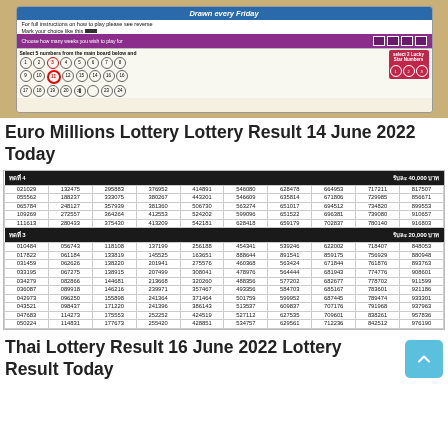[Figure (photo): Photo of a EuroMillions lottery ticket showing number selection grid with circles for numbers 1-34 and Lucky Star numbers section, partially filled in]
Euro Millions Lottery Lottery Result 14 June 2022 Today
| ทดที่ 4 (prize 40,000) |
| --- |
| 021029 | 132475 | 295883 | 376952 | 414891 | 546080 | 628478 | 664953 | 717211 | 817507 |
| 055562 | 188237 | 333075 | 380267 | 443201 | 546609 | 635814 | 671806 | 729985 | 856671 |
| 065784 | 248127 | 357939 | 381360 | 506730 | 563274 | 651017 | 694512 | 734820 | 899553 |
| 109269 | 272557 | 364264 | 412553 | 524202 | 599096 | 651522 | 696381 | 739080 | 910657 |
| 111613 | 280433 | 375430 | 413209 | 542181 | 628418 | 659179 | 702837 | 780140 | 916803 |
| ทดที่ 3 (prize 20,000) |
| 010484 | 056743 | 118108 | 137199 | 256188 | 454341 | 539246 | 622002 | 718407 | 848053 |
| 017822 | 061184 | 133819 | 145525 | 163651 | 888644 | 891541 | 859175 | 756929 | 880948 |
| 031459 | 062626 | 138220 | 201941 | 275576 | 460368 | 563424 | 671844 | 761876 | 893763 |
| 033195 | 067275 | 138915 | 207499 | 308041 | 478976 | 564444 | 681943 | 774776 | 908601 |
| 034279 | 082866 | 144681 | 213668 | 320260 | 488356 | 577202 | 682677 | 778702 | 911599 |
| 036087 | 089918 | 146216 | 239971 | 357467 | 493356 | 584703 | 685167 | 783601 | 921186 |
| 042973 | 096250 | 155898 | 241364 | 371464 | 501759 | 599952 | 687445 | 789474 | 933301 |
| 043521 | 098437 | 171220 | 241396 | 386143 | 513537 | 609837 | 707176 | 791968 | 937963 |
| 047683 | 114273 | 175553 | 252252 | 424519 | 527112 | 627535 | 709601 | 838261 | 957836 |
| 050224 | 114831 | 177673 | 255420 | 428851 | 534757 | 629561 | 712236 | 842512 | 976190 |
Thai Lottery Result 16 June 2022 Lottery Result Today